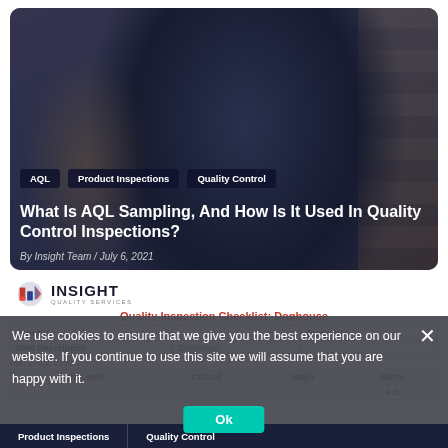[Figure (photo): Person in dark blue polo shirt leaning over a surface inspecting items, with stacked cardboard boxes in the background. Another person partially visible on the left.]
AQL
Product Inspections
Quality Control
What Is AQL Sampling, And How Is It Used In Quality Control Inspections?
By Insight Team / July 6, 2021
[Figure (logo): Insight Quality Services logo with red and blue icon and bold text 'INSIGHT' with subtitle 'Quality Services']
Quality Inspection Checklist: Doghouse
| Item No. |  | Customer |
| --- | --- | --- |
| Item Description | Doghouse |  |
Part 2 AQL Level
| AQL Level | Critical | Major | Minor |
| --- | --- | --- | --- |
|  |  |  | 4.0 |
We use cookies to ensure that we give you the best experience on our website. If you continue to use this site we will assume that you are happy with it.
Ok
Product Inspections
Quality Control